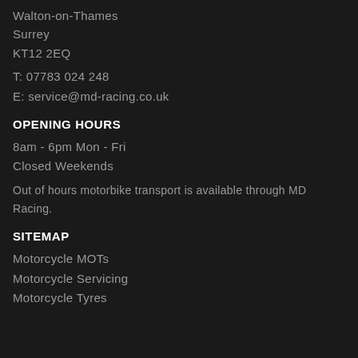Walton-on-Thames
Surrey
KT12 2EQ
T: 07783 024 248
E: service@md-racing.co.uk
OPENING HOURS
8am - 6pm Mon - Fri
Closed Weekends
Out of hours motorbike transport is available through MD Racing.
SITEMAP
Motorcycle MOTs
Motorcycle Servicing
Motorcycle Tyres